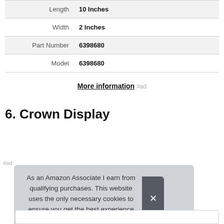| Length | 10 Inches |
| Width | 2 Inches |
| Part Number | 6398680 |
| Model | 6398680 |
More information #ad
6. Crown Display
#ad
As an Amazon Associate I earn from qualifying purchases. This website uses the only necessary cookies to ensure you get the best experience on our website. More information